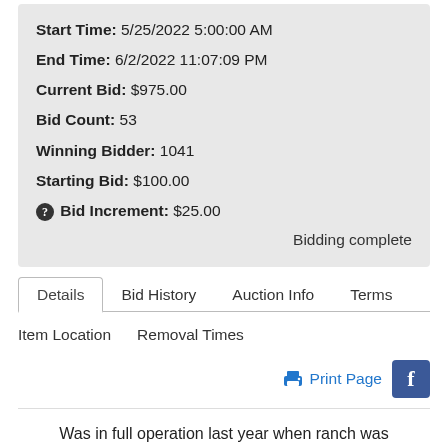Start Time: 5/25/2022 5:00:00 AM
End Time: 6/2/2022 11:07:09 PM
Current Bid: $975.00
Bid Count: 53
Winning Bidder: 1041
Starting Bid: $100.00
Bid Increment: $25.00
Bidding complete
Details
Bid History
Auction Info
Terms
Item Location
Removal Times
Print Page
Was in full operation last year when ranch was